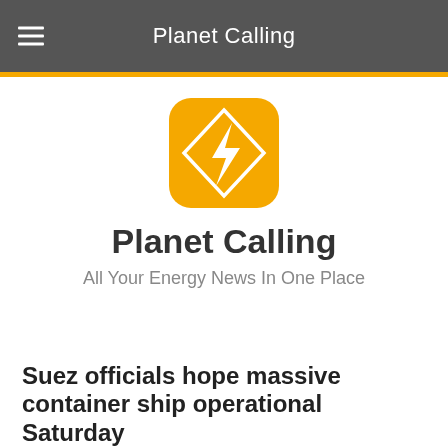Planet Calling
[Figure (logo): Planet Calling app icon: orange rounded square with a white diamond outline containing a white lightning bolt]
Planet Calling
All Your Energy News In One Place
Suez officials hope massive container ship operational Saturday